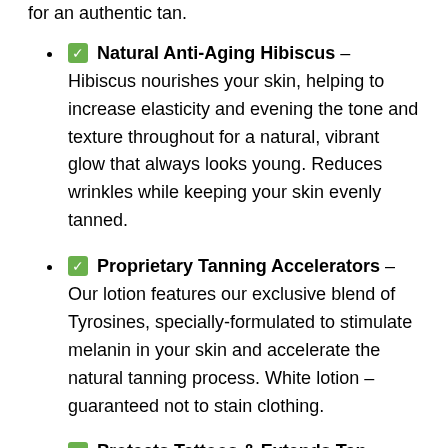for an authentic tan.
✅ Natural Anti-Aging Hibiscus – Hibiscus nourishes your skin, helping to increase elasticity and evening the tone and texture throughout for a natural, vibrant glow that always looks young. Reduces wrinkles while keeping your skin evenly tanned.
✅ Proprietary Tanning Accelerators – Our lotion features our exclusive blend of Tyrosines, specially-formulated to stimulate melanin in your skin and accelerate the natural tanning process. White lotion – guaranteed not to stain clothing.
✅ Protects Tattoos & Extends Tan – That's What Sea Said's highly guarded confidential formula keeps your tattoos bright, colorful and